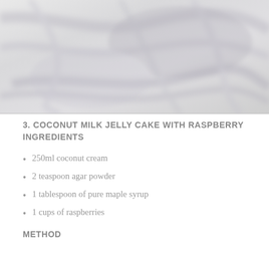[Figure (photo): A blurry close-up photograph of a white/light grey marbled surface, possibly a coconut milk jelly cake, with soft grey tones and textures.]
3. COCONUT MILK JELLY CAKE WITH RASPBERRY INGREDIENTS
250ml coconut cream
2 teaspoon agar powder
1 tablespoon of pure maple syrup
1 cups of raspberries
METHOD